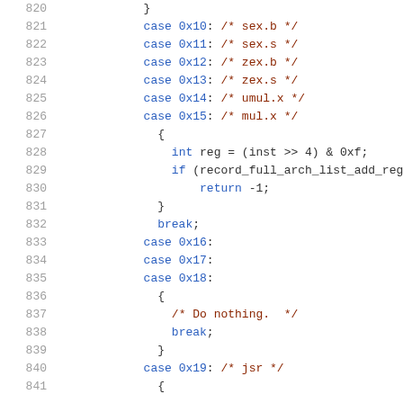820-841 source code listing in C, showing case statements and logic for sex.b, sex.s, zex.b, zex.s, umul.x, mul.x, 0x16, 0x17, 0x18 (Do nothing), 0x19 (jsr)